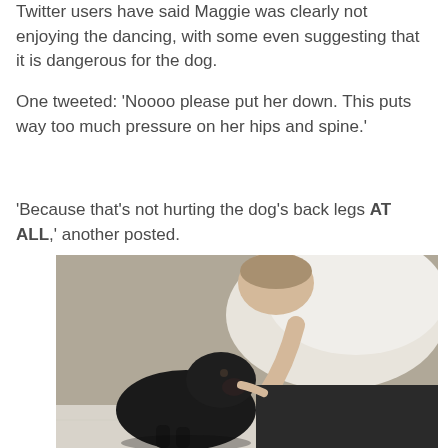Twitter users have said Maggie was clearly not enjoying the dancing, with some even suggesting that it is dangerous for the dog.
One tweeted: 'Noooo please put her down. This puts way too much pressure on her hips and spine.'
'Because that's not hurting the dog's back legs AT ALL,' another posted.
[Figure (photo): A person bending down toward a small black dog, appearing to interact with or hold the dog. The scene is on a light tile floor. The person is wearing a white top and dark pants.]